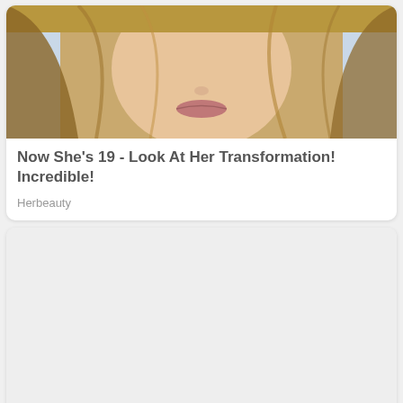[Figure (photo): Close-up photo of a young blonde woman's face with tousled hair]
Now She's 19 - Look At Her Transformation! Incredible!
Herbeauty
[Figure (photo): Large white/blank image area for second article]
9 Items Girls With A Curvaceous Body Should Keep In Their Closet
Herbeauty